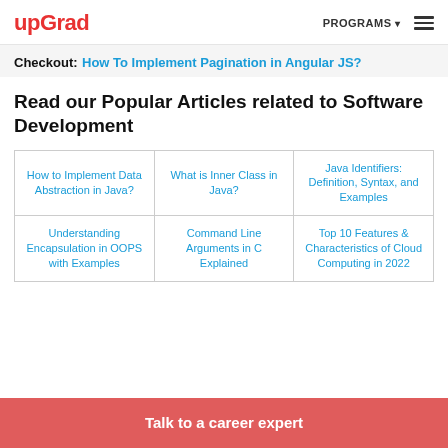upGrad | PROGRAMS ☰
Checkout: How To Implement Pagination in Angular JS?
Read our Popular Articles related to Software Development
| How to Implement Data Abstraction in Java? | What is Inner Class in Java? | Java Identifiers: Definition, Syntax, and Examples |
| Understanding Encapsulation in OOPS with Examples | Command Line Arguments in C Explained | Top 10 Features & Characteristics of Cloud Computing in 2022 |
Talk to a career expert